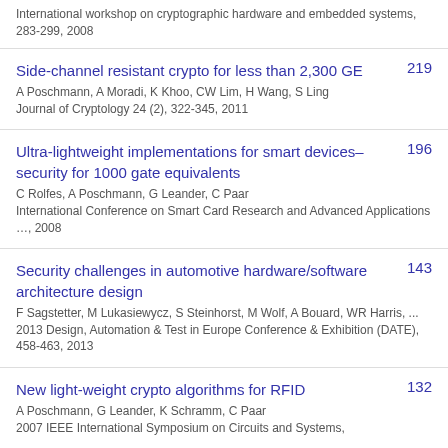International workshop on cryptographic hardware and embedded systems, 283-299, 2008
Side-channel resistant crypto for less than 2,300 GE | A Poschmann, A Moradi, K Khoo, CW Lim, H Wang, S Ling | Journal of Cryptology 24 (2), 322-345, 2011 | 219
Ultra-lightweight implementations for smart devices–security for 1000 gate equivalents | C Rolfes, A Poschmann, G Leander, C Paar | International Conference on Smart Card Research and Advanced Applications …, 2008 | 196
Security challenges in automotive hardware/software architecture design | F Sagstetter, M Lukasiewycz, S Steinhorst, M Wolf, A Bouard, WR Harris, ... | 2013 Design, Automation & Test in Europe Conference & Exhibition (DATE), 458-463, 2013 | 143
New light-weight crypto algorithms for RFID | A Poschmann, G Leander, K Schramm, C Paar | 2007 IEEE International Symposium on Circuits and Systems, | 132